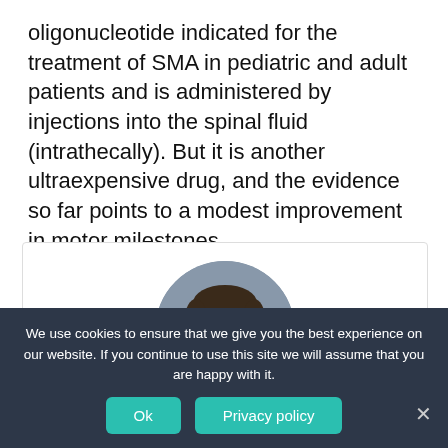oligonucleotide indicated for the treatment of SMA in pediatric and adult patients and is administered by injections into the spinal fluid (intrathecally). But it is another ultraexpensive drug, and the evidence so far points to a modest improvement in motor milestones.
[Figure (photo): Circular headshot photo of a man with dark hair, wearing a dark top, against a gray background, displayed inside a white card with border.]
We use cookies to ensure that we give you the best experience on our website. If you continue to use this site we will assume that you are happy with it.